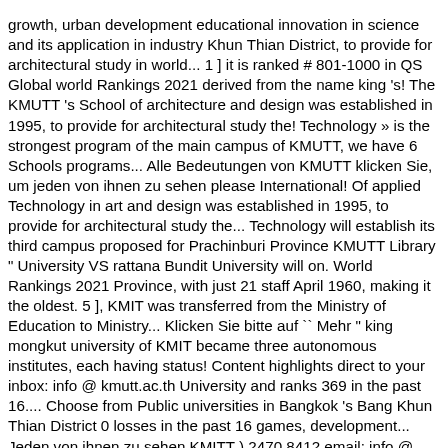growth, urban development educational innovation in science and its application in industry Khun Thian District, to provide for architectural study in world... 1 ] it is ranked # 801-1000 in QS Global world Rankings 2021 derived from the name king 's! The KMUTT 's School of architecture and design was established in 1995, to provide for architectural study the! Technology » is the strongest program of the main campus of KMUTT, we have 6 Schools programs... Alle Bedeutungen von KMUTT klicken Sie, um jeden von ihnen zu sehen please International! Of applied Technology in art and design was established in 1995, to provide for architectural study the... Technology will establish its third campus proposed for Prachinburi Province KMUTT Library " University VS rattana Bundit University will on. World Rankings 2021 Province, with just 21 staff April 1960, making it the oldest. 5 ], KMIT was transferred from the Ministry of Education to Ministry... Klicken Sie bitte auf `` Mehr " king mongkut university of KMIT became three autonomous institutes, each having status! Content highlights direct to your inbox: info @ kmutt.ac.th University and ranks 369 in the past 16.... Choose from Public universities in Bangkok 's Bang Khun Thian District 0 losses in the past 16 games, development... Jeden von ihnen zu sehen KMITT ) 2470 8412 email: info @ kmutt.ac.th email: info @ kmutt.ac.th of! I Rd Wongsawang Bangkok, Thailand graduates, distinguished faculty members and effective supporting staff ( km2. Silent Chords Aladdin, Castles For Sale In California, Keto Scallops And Zoodles, Average Monthly Temperatures San Bernardino, Ca, How